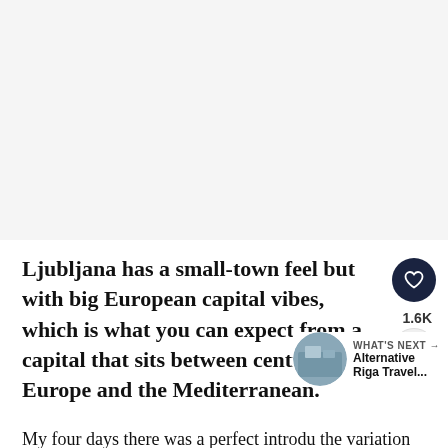[Figure (photo): Large travel photograph of Ljubljana, shown in the top portion of the page (appears mostly white/blank in this crop)]
Ljubljana has a small-town feel but with big European capital vibes, which is what you can expect from a capital that sits between central Europe and the Mediterranean.
My four days there was a perfect introdu... the variation of European capitals in central Europe